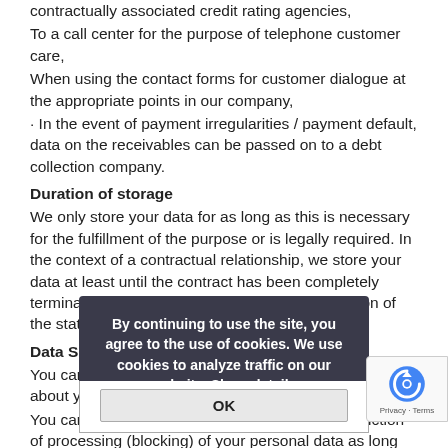contractually associated credit rating agencies,
To a call center for the purpose of telephone customer care,
When using the contact forms for customer dialogue at the appropriate points in our company,
· In the event of payment irregularities / payment default, data on the receivables can be passed on to a debt collection company.
Duration of storage
We only store your data for as long as this is necessary for the fulfillment of the purpose or is legally required. In the context of a contractual relationship, we store your data at least until the contract has been completely terminated. The data is then stored for the duration of the statutory retention periods.
Data Subject Rights
You can request information about which data is stored about you.
You can request the correction, deletion and restriction of processing (blocking) of your personal data as long as this is legally permissible and possible within the framework of an existing contractual relationship.
If you have given us your consent to data processing, you can revoke it at any time in the same way as you gave it. A revocation of consent does not affect the legality of data processing carried out on the basis of the consent up to the time of revocation. To the person responsible mentioned above is sufficient to exercise your rights.
You also have the right to lodge a complaint with a data protection supervisory authority. Responsible: Bavarian State Office for Data